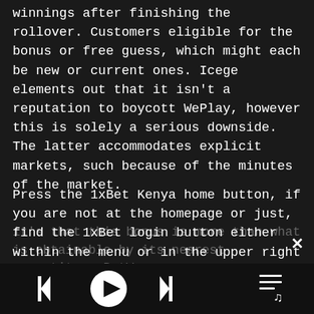winnings after finishing the rollover. Customers eligible for the bonus or free guess, which might each be new or current ones. Icege elements out that it isn't a reputation to boycott WePlay, however this is solely a serious downside. The latter accommodates explicit markets, such because of the minutes of the market.
Press the 1xBet Kenya home button, if you are not at the homepage or just, find the 1xBet login button either within the menu or in the upper right nook. In the upper left corner, you will discover the next text – REGISTER AND RECEIVE A BONUS 10,000 KES RIGHT NOW! It means that you will get a bonus after your registration, which you can attempt to redeem. The fantastic thing about it's that this bonus is more than what is obtainable by its nearest competitor, BetWay